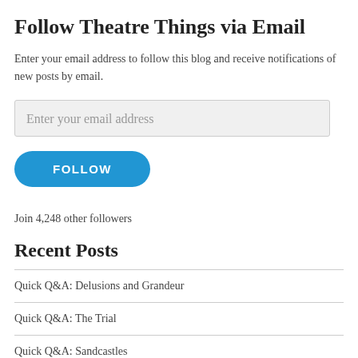Follow Theatre Things via Email
Enter your email address to follow this blog and receive notifications of new posts by email.
Enter your email address
FOLLOW
Join 4,248 other followers
Recent Posts
Quick Q&A: Delusions and Grandeur
Quick Q&A: The Trial
Quick Q&A: Sandcastles